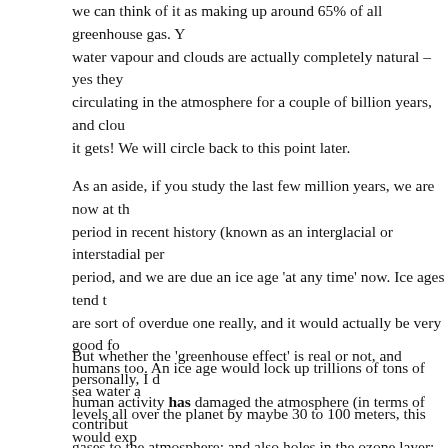we can think of it as making up around 65% of all greenhouse gas. Y water vapour and clouds are actually completely natural – yes they circulating in the atmosphere for a couple of billion years, and clou it gets! We will circle back to this point later.
As an aside, if you study the last few million years, we are now at th period in recent history (known as an interglacial or interstadial per period, and we are due an ice age 'at any time' now. Ice ages tend t are sort of overdue one really, and it would actually be very good fo humans too. An ice age would lock up trillions of tons of sea water a levels all over the planet by maybe 30 to 100 meters, this would exp currently have, maybe for 5,000 or 10,000 or 15,000 years. We may l America, but there would be a lot more Asia and Oceania for us all t interesting to think about!
But whether the 'greenhouse effect' is real or not, and personally, I d human activity has damaged the atmosphere (in terms of contribut gases to the atmosphere; and also holes in the ozone layer; and br smog over cities, among other things), we really should stop burnin waiting til they run out. We, all nations, as a global society, should be